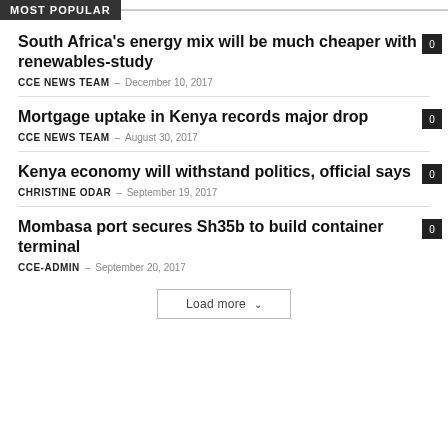MOST POPULAR
South Africa's energy mix will be much cheaper with renewables-study
CCE NEWS TEAM – December 10, 2017
Mortgage uptake in Kenya records major drop
CCE NEWS TEAM – August 30, 2017
Kenya economy will withstand politics, official says
Christine Odar – September 19, 2017
Mombasa port secures Sh35b to build container terminal
cce-admin – September 20, 2017